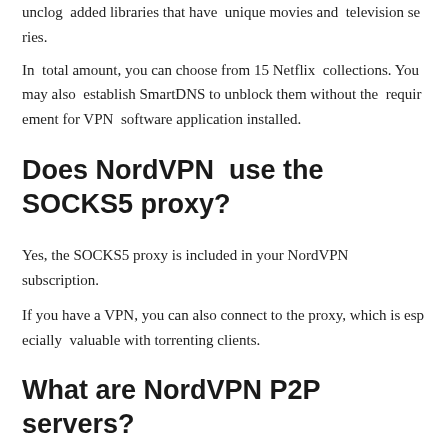unclog added libraries that have unique movies and television series.
In total amount, you can choose from 15 Netflix collections. You may also establish SmartDNS to unblock them without the requirement for VPN software application installed.
Does NordVPN use the SOCKS5 proxy?
Yes, the SOCKS5 proxy is included in your NordVPN subscription.
If you have a VPN, you can also connect to the proxy, which is especially valuable with torrenting clients.
What are NordVPN P2P servers?